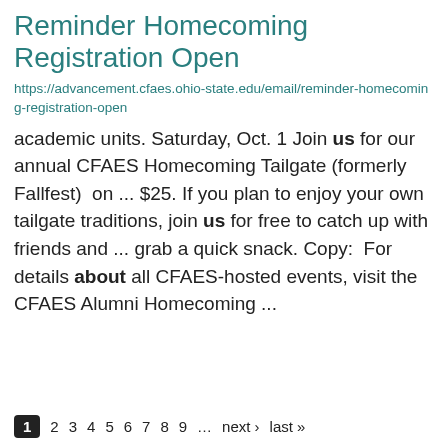Reminder Homecoming Registration Open
https://advancement.cfaes.ohio-state.edu/email/reminder-homecoming-registration-open
academic units. Saturday, Oct. 1 Join us for our annual CFAES Homecoming Tailgate (formerly Fallfest)  on ... $25. If you plan to enjoy your own tailgate traditions, join us for free to catch up with friends and ... grab a quick snack. Copy:  For details about all CFAES-hosted events, visit the CFAES Alumni Homecoming ...
1 2 3 4 5 6 7 8 9 … next › last »